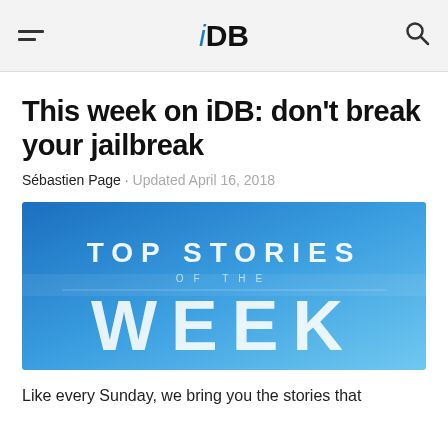iDB
This week on iDB: don't break your jailbreak
Sébastien Page · Updated April 16, 2018
[Figure (illustration): Banner image with blue gradient background showing the text 'TOP STORIES OF THE WEEK' in large white letters]
Like every Sunday, we bring you the stories that